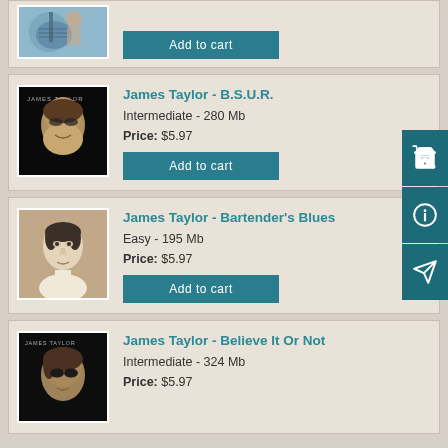[Figure (photo): Partial product card with guitar player photo and Add to cart button]
[Figure (photo): James Taylor B.S.U.R. album cover photo - man with dark background]
James Taylor - B.S.U.R.
Intermediate - 280 Mb
Price: $5.97
[Figure (photo): James Taylor Bartender's Blues album cover - black and white portrait]
James Taylor - Bartender's Blues
Easy - 195 Mb
Price: $5.97
[Figure (photo): James Taylor Believe It Or Not album cover - dark background portrait]
James Taylor - Believe It Or Not
Intermediate - 324 Mb
Price: $5.97